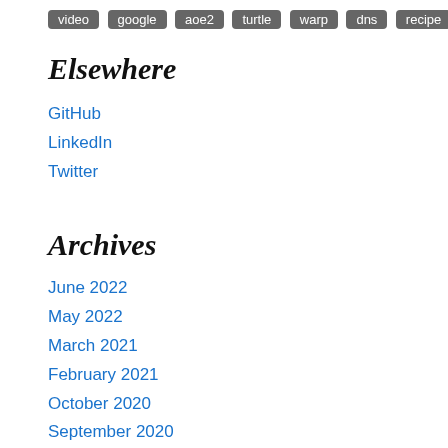video
google
aoe2
turtle
warp
dns
recipe
Elsewhere
GitHub
LinkedIn
Twitter
Archives
June 2022
May 2022
March 2021
February 2021
October 2020
September 2020
August 2020
June 2020
May 2020